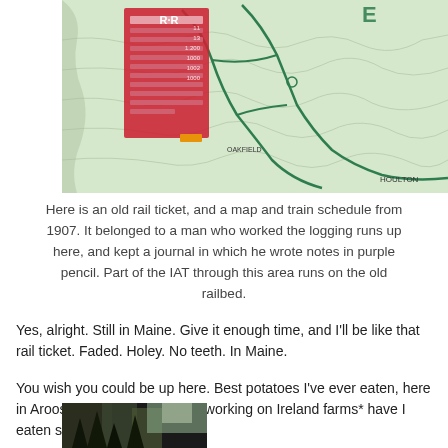[Figure (photo): Old rail ticket overlaid on a vintage 1907 map showing train routes in northern Maine/Aroostook county area near Houlton and Oakfield, with green route lines and red ticket visible.]
Here is an old rail ticket, and a map and train schedule from 1907. It belonged to a man who worked the logging runs up here, and kept a journal in which he wrote notes in purple pencil. Part of the IAT through this area runs on the old railbed.
Yes, alright. Still in Maine. Give it enough time, and I'll be like that rail ticket. Faded. Holey. No teeth. In Maine.
You wish you could be up here. Best potatoes I've ever eaten, here in Aroostook county. Not even working on Ireland farms* have I eaten such potatoes.
[Figure (photo): Partial photo of a dark forested scene, partially visible at bottom of page.]